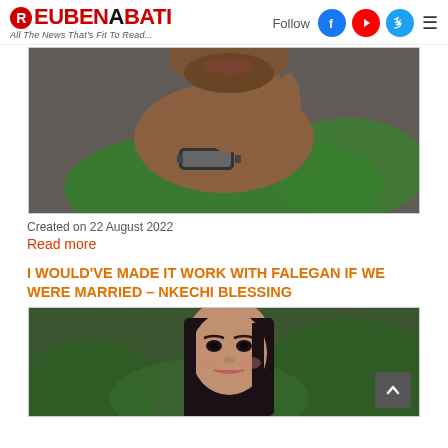ReubenAbati — All The News That's Fit To Read...
[Figure (photo): Close-up of a man wearing a green shirt and silver/black watch, hand raised near his face]
Created on 22 August 2022
Read more
I WOULD'VE MADE IT WORK WITH FALEGAN IF WE WERE MARRIED – NKECHI BLESSING
[Figure (photo): Woman with long dark straight hair, wearing makeup, outdoors with green foliage background]